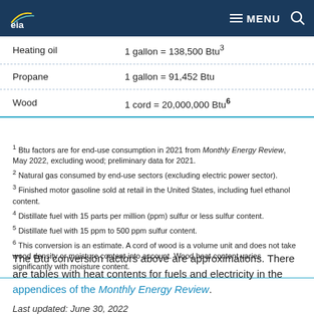EIA — MENU
| Fuel | Conversion |
| --- | --- |
| Heating oil | 1 gallon = 138,500 Btu³ |
| Propane | 1 gallon = 91,452 Btu |
| Wood | 1 cord = 20,000,000 Btu⁶ |
1 Btu factors are for end-use consumption in 2021 from Monthly Energy Review, May 2022, excluding wood; preliminary data for 2021.
2 Natural gas consumed by end-use sectors (excluding electric power sector).
3 Finished motor gasoline sold at retail in the United States, including fuel ethanol content.
4 Distillate fuel with 15 parts per million (ppm) sulfur or less sulfur content.
5 Distillate fuel with 15 ppm to 500 ppm sulfur content.
6 This conversion is an estimate. A cord of wood is a volume unit and does not take wood density or moisture content into account. Wood heat content varies significantly with moisture content.
The Btu conversion factors above are approximations. There are tables with heat contents for fuels and electricity in the appendices of the Monthly Energy Review.
Last updated: June 30, 2022